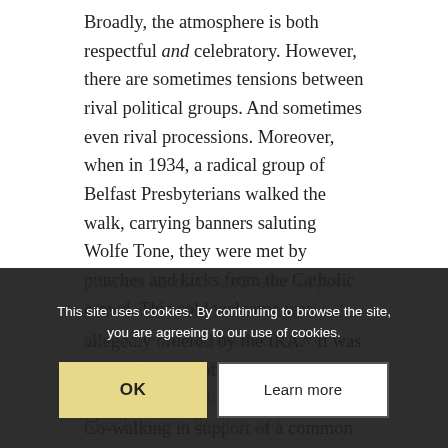Broadly, the atmosphere is both respectful and celebratory. However, there are sometimes tensions between rival political groups. And sometimes even rival processions. Moreover, when in 1934, a radical group of Belfast Presbyterians walked the walk, carrying banners saluting Wolfe Tone, they were met by punches and kicks from the Catholic crowd. This cold welcome was allegedly ordered by the IRA.6 It was not in the spirit of Wolfe Tone.
Co-walking in support of a common cause can promote harmony and rally support. Music adds a festive touch, and helps the walkers to maintain the pace. Flying flags and banners can meanwhile enlighten onlookers. Marches are a flexible and democratic form of public affirmation. They do not require huge funds. Numbers participating may be tiny or huge, depending on the